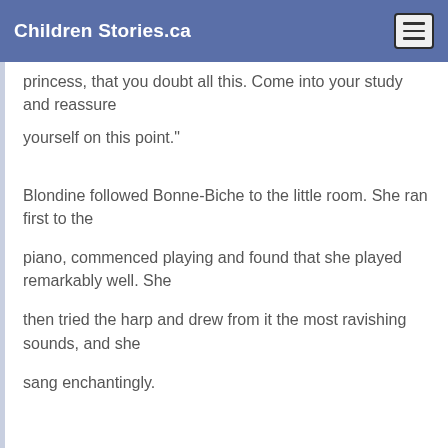Children Stories.ca
princess, that you doubt all this. Come into your study and reassure
yourself on this point."
Blondine followed Bonne-Biche to the little room. She ran first to the
piano, commenced playing and found that she played remarkably well. She
then tried the harp and drew from it the most ravishing sounds, and she
sang enchantingly.